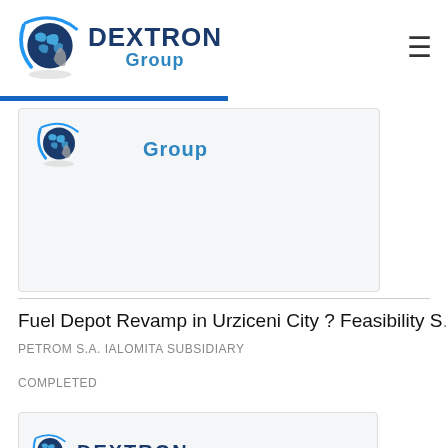[Figure (logo): Dextron Group logo with globe graphic, DEXTRON in dark blue bold, Group in blue below]
Fuel Depot Revamp in Urziceni City ? Feasibility S...
PETROM S.A. IALOMITA SUBSIDIARY
COMPLETED
[Figure (logo): Dextron Group logo partially visible at bottom of page]